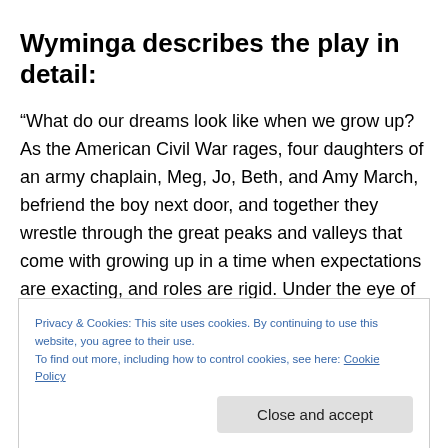Wyminga describes the play in detail:
“What do our dreams look like when we grow up? As the American Civil War rages, four daughters of an army chaplain, Meg, Jo, Beth, and Amy March, befriend the boy next door, and together they wrestle through the great peaks and valleys that come with growing up in a time when expectations are exacting, and roles are rigid. Under the eye of their audaciously indulgent mother, the March
Privacy & Cookies: This site uses cookies. By continuing to use this website, you agree to their use.
To find out more, including how to control cookies, see here: Cookie Policy
Far From The Tree Productions is thrilled to present this